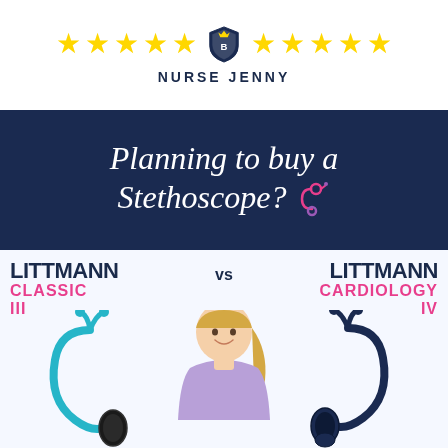[Figure (illustration): Five gold stars, a shield/crest logo, and five more gold stars arranged in a row above the text NURSE JENNY]
NURSE JENNY
Planning to buy a Stethoscope?
LITTMANN vs LITTMANN CLASSIC III CARDIOLOGY IV
[Figure (photo): A smiling blonde female nurse in lavender scrubs holding a teal/turquoise Littmann Classic III stethoscope on the left and a dark navy Littmann Cardiology IV stethoscope on the right]